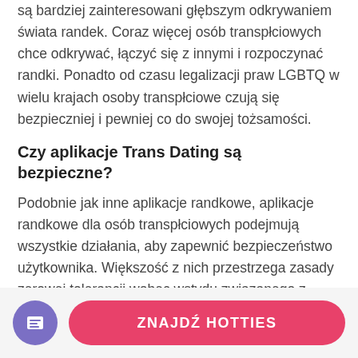są bardziej zainteresowani głębszym odkrywaniem świata randek. Coraz więcej osób transpłciowych chce odkrywać, łączyć się z innymi i rozpoczynać randki. Ponadto od czasu legalizacji praw LGBTQ w wielu krajach osoby transpłciowe czują się bezpieczniej i pewniej co do swojej tożsamości.
Czy aplikacje Trans Dating są bezpieczne?
Podobnie jak inne aplikacje randkowe, aplikacje randkowe dla osób transpłciowych podejmują wszystkie działania, aby zapewnić bezpieczeństwo użytkownika. Większość z nich przestrzega zasady zerowej tolerancji wobec wstydu związanego z płcią, naruszania prywatności i mowy nienawiści. Możesz zablokować i zgłosić każdego użytkownika, który żle się
[Figure (other): A circular progress indicator showing 74% in pink/red color, partially overlapping the text content]
ZNAJDŹ HOTTIES